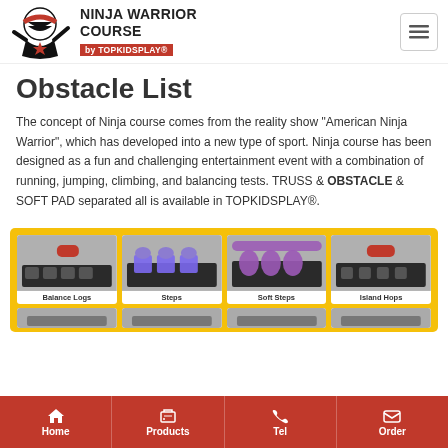Ninja Warrior Course by TOPKIDSPLAY
Obstacle List
The concept of Ninja course comes from the reality show "American Ninja Warrior", which has developed into a new type of sport. Ninja course has been designed as a fun and challenging entertainment event with a combination of running, jumping, climbing, and balancing tests. TRUSS & OBSTACLE & SOFT PAD separated all is available in TOPKIDSPLAY®.
[Figure (photo): Grid of 4 ninja course obstacles: Balance Logs, Steps, Soft Steps, Island Hops shown with 3D renderings on black mats with colored foam elements, yellow background]
Home | Products | Tel | Order